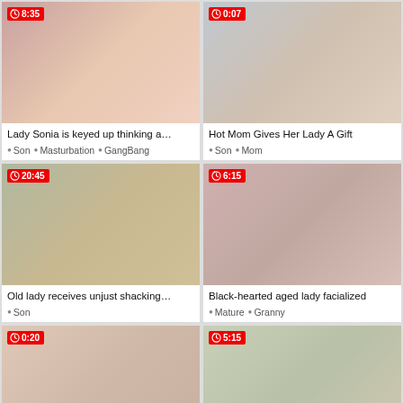[Figure (photo): Video thumbnail with duration badge 8:35 — adult content thumbnail 1]
Lady Sonia is keyed up thinking a…
Son  Masturbation  GangBang
[Figure (photo): Video thumbnail with duration badge 0:07 — adult content thumbnail 2]
Hot Mom Gives Her Lady A Gift
Son  Mom
[Figure (photo): Video thumbnail with duration badge 20:45 — adult content thumbnail 3]
Old lady receives unjust shacking…
Son
[Figure (photo): Video thumbnail with duration badge 6:15 — adult content thumbnail 4]
Black-hearted aged lady facialized
Mature  Granny
[Figure (photo): Video thumbnail with duration badge 0:20 — adult content thumbnail 5]
[Figure (photo): Video thumbnail with duration badge 5:15 — adult content thumbnail 6]